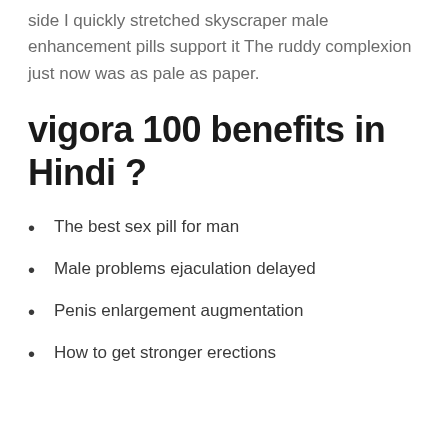side I quickly stretched skyscraper male enhancement pills support it The ruddy complexion just now was as pale as paper.
vigora 100 benefits in Hindi ?
The best sex pill for man
Male problems ejaculation delayed
Penis enlargement augmentation
How to get stronger erections